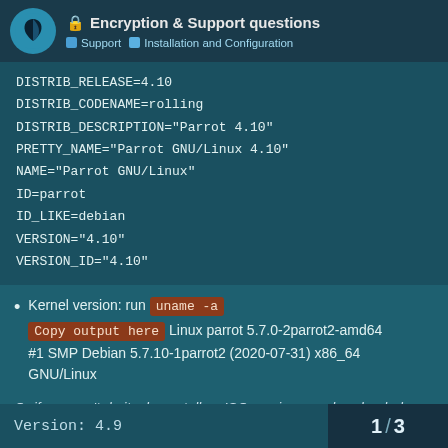🔒 Encryption & Support questions | Support | Installation and Configuration
DISTRIB_RELEASE=4.10
DISTRIB_CODENAME=rolling
DISTRIB_DESCRIPTION="Parrot 4.10"
PRETTY_NAME="Parrot GNU/Linux 4.10"
NAME="Parrot GNU/Linux"
ID=parrot
ID_LIKE=debian
VERSION="4.10"
VERSION_ID="4.10"
Kernel version: run uname -a
Copy output here Linux parrot 5.7.0-2parrot2-amd64 #1 SMP Debian 5.7.10-1parrot2 (2020-07-31) x86_64 GNU/Linux
Or if you can't do it, please tell us ISO version you downloaded.
** ISO information **
Version: 4.9  |  1 / 3